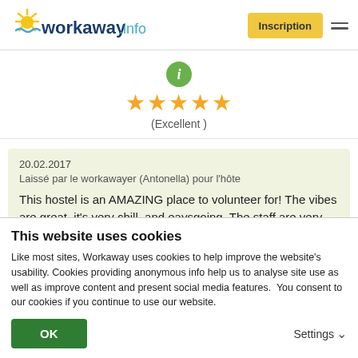[Figure (logo): Workaway.info logo with sun graphic]
Inscription
[Figure (illustration): Green info icon circle with letter i]
★★★★★ (Excellent)
20.02.2017
Laissé par le workawayer (Antonella) pour l'hôte
This hostel is an AMAZING place to volunteer for! The vibes are great, it's very chill, and eaysgoing. The staff are very friendly. I became very close to some of the workers, it
This website uses cookies
Like most sites, Workaway uses cookies to help improve the website's usability. Cookies providing anonymous info help us to analyse site use as well as improve content and present social media features.  You consent to our cookies if you continue to use our website.
OK
Settings